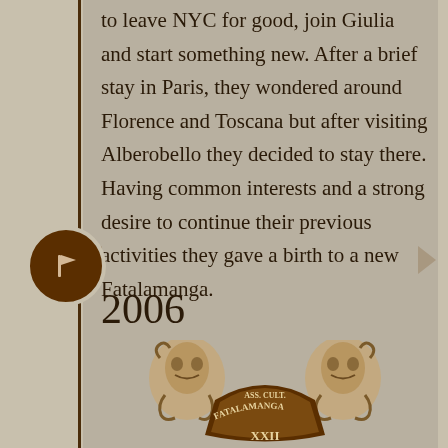to leave NYC for good, join Giulia and start something new. After a brief stay in Paris, they wondered around Florence and Toscana but after visiting Alberobello they decided to stay there. Having common interests and a strong desire to continue their previous activities they gave a birth to a new Fatalamanga.
2006
[Figure (illustration): Decorative emblem/seal showing two bearded face figures flanking an ornate crest with a banner reading 'FATALAMANGA' and 'ASS. CULT.' with Roman numerals XXII at the bottom.]